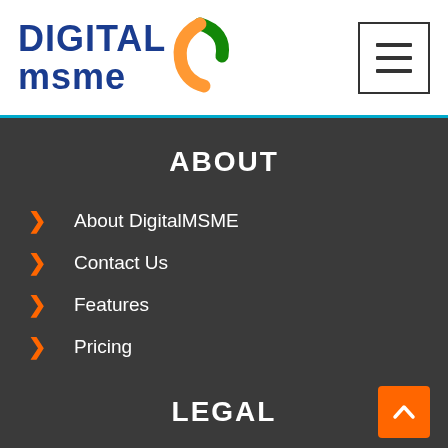[Figure (logo): DigitalMSME logo with DIGITAL in blue bold text, msme in blue bold text below, and Indian flag tricolor swirl graphic to the right]
[Figure (other): Hamburger menu button icon with three horizontal bars inside a square border]
ABOUT
About DigitalMSME
Contact Us
Features
Pricing
Frequently Asked Questions
LEGAL